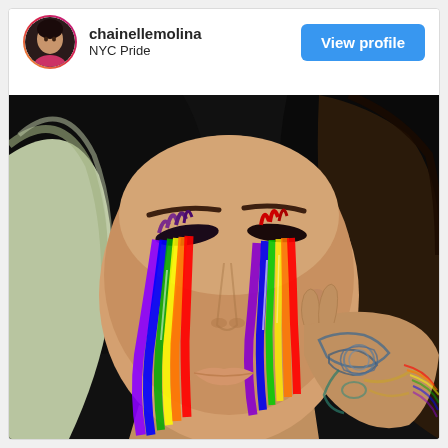chainellemolina
NYC Pride
View profile
[Figure (photo): Close-up photo of a woman with eyes closed, wearing dramatic rainbow-colored makeup with dripping paint effects over both eyes, suggesting tears in rainbow pride colors. She has tattoos on her hand resting against her cheek and wears rainbow earrings. Her hair is partly blonde and partly dark.]